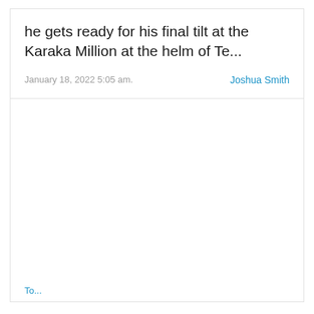he gets ready for his final tilt at the Karaka Million at the helm of Te...
January 18, 2022 5:05 am.
Joshua Smith